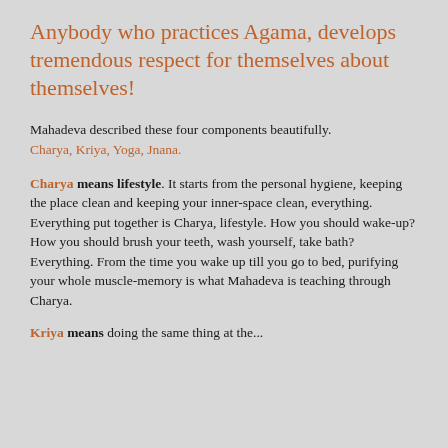Anybody who practices Agama, develops tremendous respect for themselves about themselves!
Mahadeva described these four components beautifully. Charya, Kriya, Yoga, Jnana.
Charya means lifestyle. It starts from the personal hygiene, keeping the place clean and keeping your inner-space clean, everything. Everything put together is Charya, lifestyle. How you should wake-up? How you should brush your teeth, wash yourself, take bath? Everything. From the time you wake up till you go to bed, purifying your whole muscle-memory is what Mahadeva is teaching through Charya.
Kriya means...